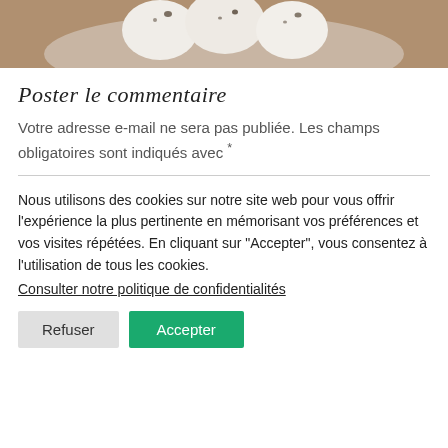[Figure (photo): Photo of white meringues or dumplings on a plate, partially visible at the top of the page.]
Poster le commentaire
Votre adresse e-mail ne sera pas publiée. Les champs obligatoires sont indiqués avec *
Nous utilisons des cookies sur notre site web pour vous offrir l'expérience la plus pertinente en mémorisant vos préférences et vos visites répétées. En cliquant sur "Accepter", vous consentez à l'utilisation de tous les cookies.
Consulter notre politique de confidentialités
Refuser   Accepter